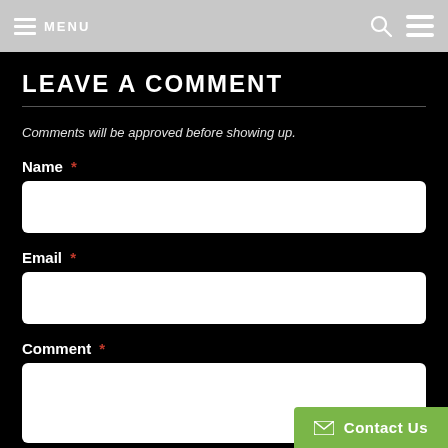MENU
LEAVE A COMMENT
Comments will be approved before showing up.
Name *
Email *
Comment *